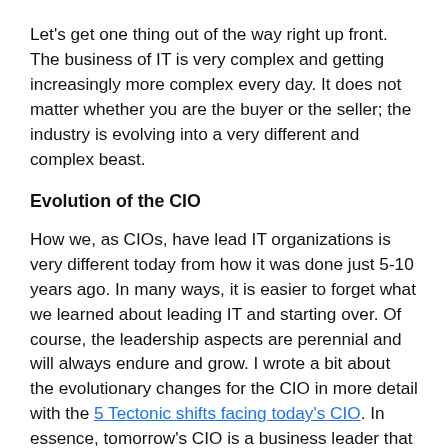Let's get one thing out of the way right up front. The business of IT is very complex and getting increasingly more complex every day. It does not matter whether you are the buyer or the seller; the industry is evolving into a very different and complex beast.
Evolution of the CIO
How we, as CIOs, have lead IT organizations is very different today from how it was done just 5-10 years ago. In many ways, it is easier to forget what we learned about leading IT and starting over. Of course, the leadership aspects are perennial and will always endure and grow. I wrote a bit about the evolutionary changes for the CIO in more detail with the 5 Tectonic shifts facing today's CIO. In essence, tomorrow's CIO is a business leader that also has responsibility for IT.